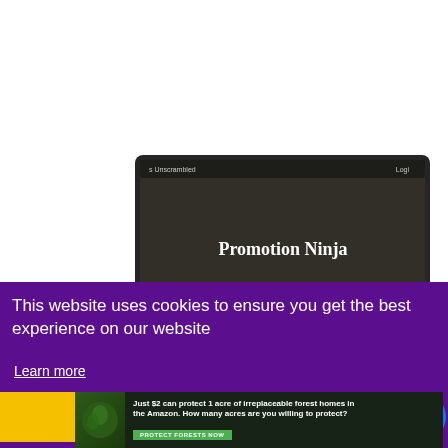[Figure (screenshot): Screenshot of a laptop showing a website called 'Promotion Ninja' with a dark background and a ninja silhouette image]
This website uses cookies to ensure you get the best experience on our website
Learn more
Dismiss
[Figure (other): Share button icon (blue circle with share symbol)]
[Figure (other): Advertisement banner: Just $2 can protect 1 acre of irreplaceable forest homes in the Amazon. How many acres are you willing to protect? PROTECT FORESTS NOW]